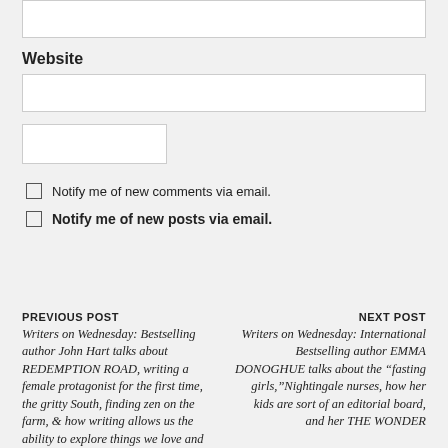[Figure (other): Empty text input box at top of page (partially visible)]
Website
[Figure (other): Empty text input box for website URL]
[Figure (other): Empty submit/post comment button box]
Notify me of new comments via email.
Notify me of new posts via email.
PREVIOUS POST Writers on Wednesday: Bestselling author John Hart talks about REDEMPTION ROAD, writing a female protagonist for the first time, the gritty South, finding zen on the farm, & how writing allows us the ability to explore things we love and... | NEXT POST Writers on Wednesday: International Bestselling author EMMA DONOGHUE talks about the “fasting girls,”Nightingale nurses, how her kids are sort of an editorial board, and her THE WONDER